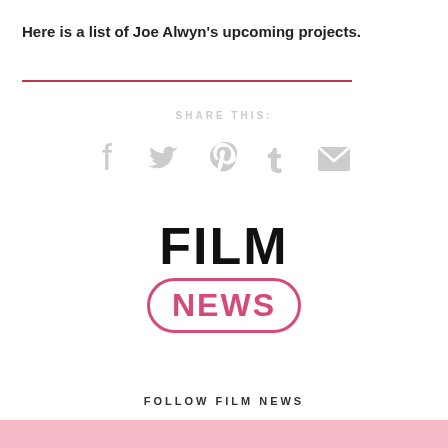Here is a list of Joe Alwyn's upcoming projects.
SHARE THIS:
[Figure (infographic): Social media share icons: Facebook, Twitter, Pinterest, Tumblr, Email — all in light grey]
[Figure (logo): Film News logo: 'FILM' in large bold black text, 'NEWS' in pink bold text inside a pink rounded rectangle border]
FOLLOW FILM NEWS